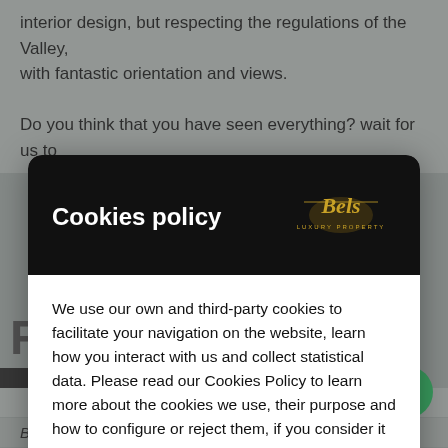interior design, but respecting the regulations of the Valley, with fantastic orientation and views.
Do you think that you have seen everything? wait for us to
Cookies policy
We use our own and third-party cookies to facilitate your navigation on the website, learn how you interact with us and collect statistical data. Please read our Cookies Policy to learn more about the cookies we use, their purpose and how to configure or reject them, if you consider it so.
Manage Cookies
Accept all
QUESTION?
|  |  |
| --- | --- |
|  | 6 |
| Bathrooms | 7 |